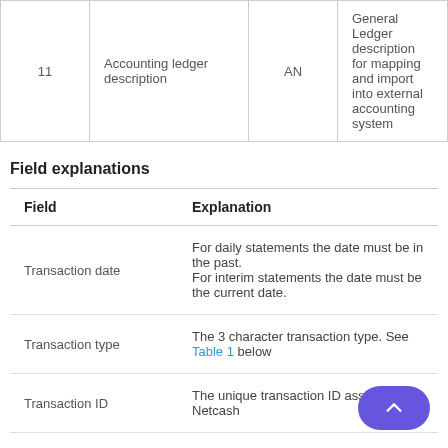| # | Field name | Type | Description |
| --- | --- | --- | --- |
| 11 | Accounting ledger description | AN | General Ledger description for mapping and import into external accounting system |
Field explanations
| Field | Explanation |
| --- | --- |
| Transaction date | For daily statements the date must be in the past.
For interim statements the date must be the current date. |
| Transaction type | The 3 character transaction type. See Table 1 below |
| Transaction ID | The unique transaction ID assigned by Netcash |
| Description | Transaction description |